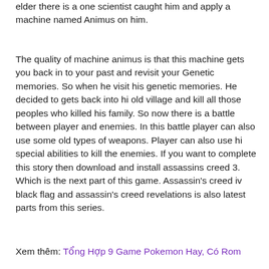elder there is a one scientist caught him and apply a machine named Animus on him.
The quality of machine animus is that this machine gets you back in to your past and revisit your Genetic memories. So when he visit his genetic memories. He decided to gets back into hi old village and kill all those peoples who killed his family. So now there is a battle between player and enemies. In this battle player can also use some old types of weapons. Player can also use hi special abilities to kill the enemies. If you want to complete this story then download and install assassins creed 3. Which is the next part of this game. Assassin's creed iv black flag and assassin's creed revelations is also latest parts from this series.
Xem thêm: Tổng Hợp 9 Game Pokemon Hay, Có Rom